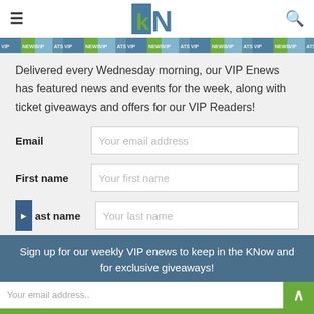kN logo header with hamburger menu and search icon
[Figure (illustration): Decorative ticket strip with VIP/NEWS text pattern in blue and green colors]
Delivered every Wednesday morning, our VIP Enews has featured news and events for the week, along with ticket giveaways and offers for our VIP Readers!
Email | Your email address
First name | Your first name
Last name | Your last name
Sign up for our weekly VIP enews to keep in the KNow and for exclusive giveaways!
Your email address..
SUBSCRIBE